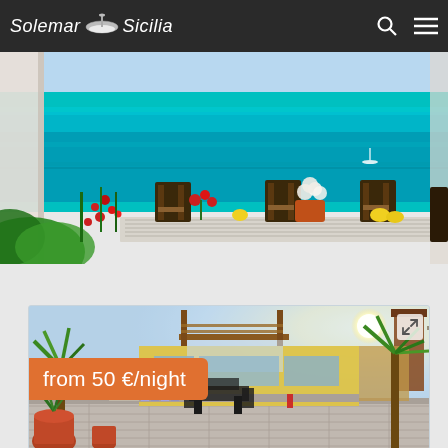Solemar Sicilia
[Figure (photo): Outdoor terrace with wooden dining table and chairs overlooking vivid turquoise Mediterranean sea, with red flowers and a boat in the distance]
[Figure (photo): Rooftop terrace of a yellow Sicilian holiday property with palm trees, outdoor seating, pergola, and stairs in bright sunlight]
from 50 €/night